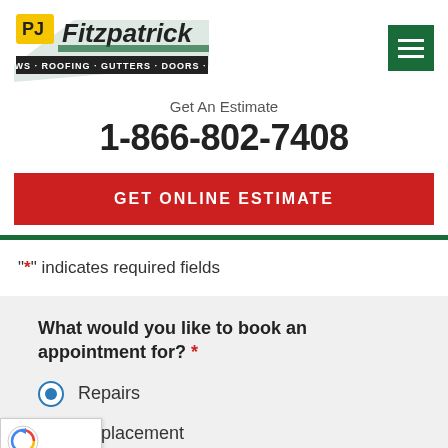[Figure (logo): PJ Fitzpatrick logo — WINDOWS · ROOFING · GUTTERS · DOORS · BATHS]
[Figure (other): Green hamburger menu button with three white horizontal lines]
Get An Estimate
1-866-802-7408
GET ONLINE ESTIMATE
"*" indicates required fields
What would you like to book an appointment for? *
Repairs
Replacement